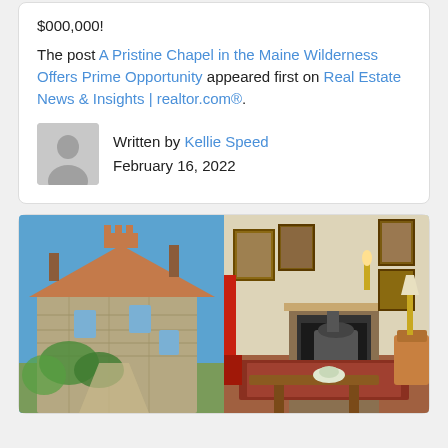$000,000!
The post A Pristine Chapel in the Maine Wilderness Offers Prime Opportunity appeared first on Real Estate News & Insights | realtor.com®.
Written by Kellie Speed
February 16, 2022
[Figure (photo): Composite photo showing a stone manor house exterior with ivy and gardens on the left, and an interior room with fireplace, wood stove, artwork, and antique furniture on the right.]